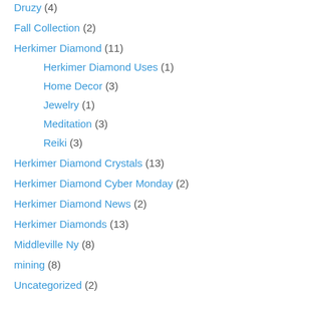Druzy (4)
Fall Collection (2)
Herkimer Diamond (11)
Herkimer Diamond Uses (1)
Home Decor (3)
Jewelry (1)
Meditation (3)
Reiki (3)
Herkimer Diamond Crystals (13)
Herkimer Diamond Cyber Monday (2)
Herkimer Diamond News (2)
Herkimer Diamonds (13)
Middleville Ny (8)
mining (8)
Uncategorized (2)